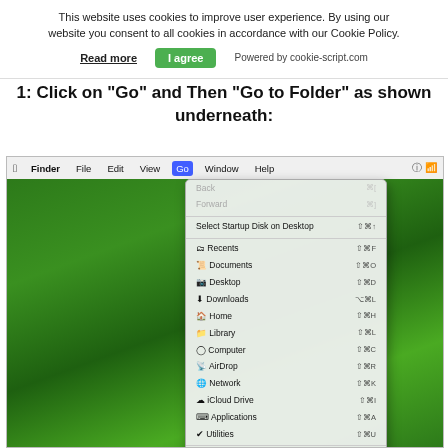This website uses cookies to improve user experience. By using our website you consent to all cookies in accordance with our Cookie Policy.
Read more   I agree   Powered by cookie-script.com
1: Click on "Go" and Then "Go to Folder" as shown underneath:
[Figure (screenshot): Mac OS Finder menu bar with 'Go' menu open, showing options including Back, Forward, Select Startup Disk on Desktop, Recents, Documents, Desktop, Downloads, Home, Library, Computer, AirDrop, Network, iCloud Drive, Applications, Utilities, Recent Folders, Go to Folder (highlighted in blue), Connect to Server. Background is green grass.]